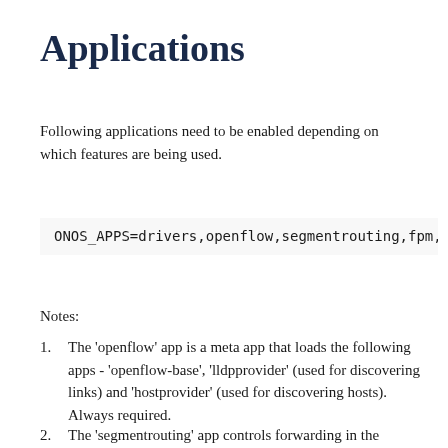Applications
Following applications need to be enabled depending on which features are being used.
ONOS_APPS=drivers,openflow,segmentrouting,fpm,netcfg
Notes:
1. The 'openflow' app is a meta app that loads the following apps - 'openflow-base', 'lldpprovider' (used for discovering links) and 'hostprovider' (used for discovering hosts). Always required.
2. The 'segmentrouting' app controls forwarding in the